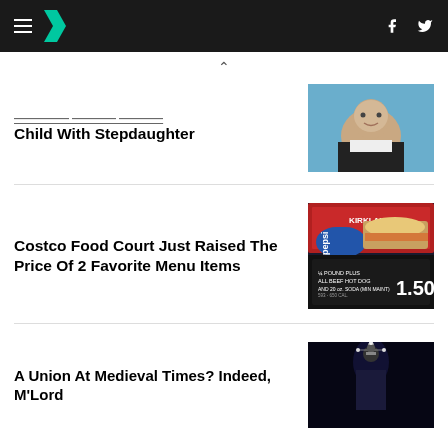HuffPost navigation header with logo, hamburger menu, Facebook and Twitter icons
^ (chevron/scroll indicator)
Child With Stepdaughter
[Figure (photo): Photo of a man in a dark jacket smiling, blue background]
Costco Food Court Just Raised The Price Of 2 Favorite Menu Items
[Figure (photo): Costco Kirkland food court sign showing hot dog and soda combo for $1.50, with Pepsi cup]
A Union At Medieval Times? Indeed, M'Lord